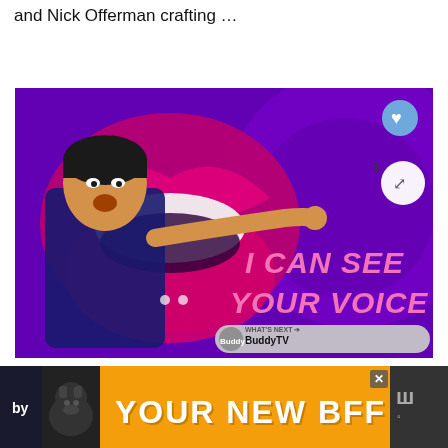and Nick Offerman crafting …
[Figure (screenshot): Promotional image for 'I Can See Your Voice' TV show featuring a person pointing against a purple background with large lips graphic. Overlaid with heart button, share button with count '1', and 'What's Next - BuddyTV' widget.]
[Figure (screenshot): Advertisement banner showing a dog and text 'YOUR NEW BFF' on orange background with close button and logo on right.]